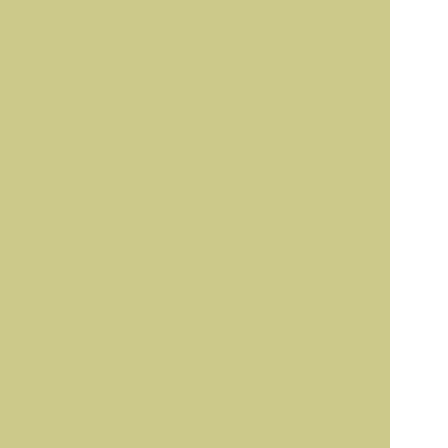| 3. ODPP | 1) Prioritize fine recovery on fines ordered under cigarette and tobacco sales to youth convictions.
2) Increase the number of fines satisfied by a minimum of X percent.
3) Analyze trends and practices - most effective and least effective recovery methods.
4) Prioritize payment of fines over incarceration, but enhance enforcement measures where appropriate.
5) Reduce costs to client departments in regards to costs incurred for Crown counsel attending motions for extension of the delay to pay a fine. |
|  | 1) Provide the Department of Finance, HC and other p... |